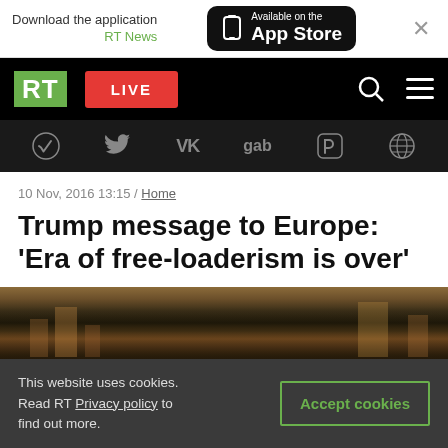[Figure (screenshot): App Store download banner with phone icon, RT News label, and close button]
[Figure (screenshot): RT (Russia Today) navigation bar with green RT logo, red LIVE button, search and hamburger menu icons]
[Figure (screenshot): Social media icons bar: Telegram, Twitter, VK, gab, Rumble/odysee, globe icons on dark background]
10 Nov, 2016 13:15 / Home
Trump message to Europe: 'Era of free-loaderism is over'
[Figure (photo): City skyline at night with illuminated buildings]
This website uses cookies. Read RT Privacy policy to find out more.
Accept cookies